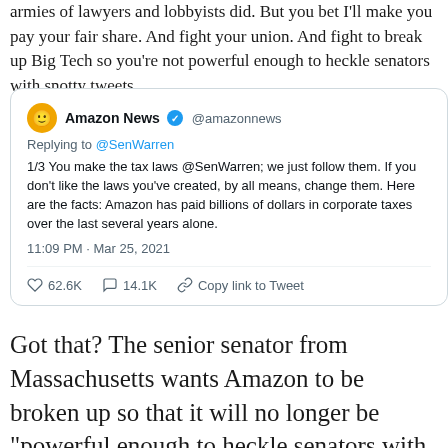armies of lawyers and lobbyists did. But you bet I'll make you pay your fair share. And fight your union. And fight to break up Big Tech so you're not powerful enough to heckle senators with snotty tweets.
[Figure (screenshot): Screenshot of a tweet from Amazon News (@amazonnews) replying to @SenWarren: '1/3 You make the tax laws @SenWarren; we just follow them. If you don't like the laws you've created, by all means, change them. Here are the facts: Amazon has paid billions of dollars in corporate taxes over the last several years alone.' Posted at 11:09 PM · Mar 25, 2021. 62.6K likes, 14.1K comments, Copy link to Tweet.]
Got that? The senior senator from Massachusetts wants Amazon to be broken up so that it will no longer be "powerful enough to heckle senators with snotty tweets."